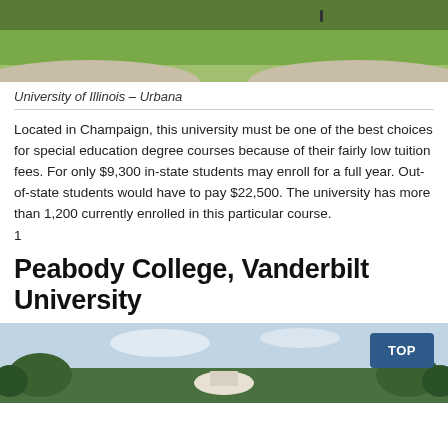[Figure (photo): Aerial/ground view of a green campus lawn with pathways, University of Illinois Urbana]
University of Illinois – Urbana
Located in Champaign, this university must be one of the best choices for special education degree courses because of their fairly low tuition fees. For only $9,300 in-state students may enroll for a full year. Out-of-state students would have to pay $22,500. The university has more than 1,200 currently enrolled in this particular course.
1
Peabody College, Vanderbilt University
[Figure (photo): Campus photo of Peabody College, Vanderbilt University with trees and buildings]